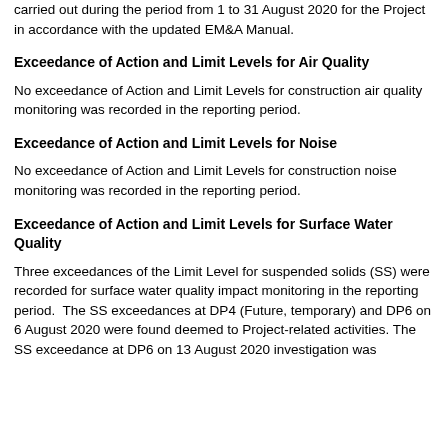carried out during the period from 1 to 31 August 2020 for the Project in accordance with the updated EM&A Manual.
Exceedance of Action and Limit Levels for Air Quality
No exceedance of Action and Limit Levels for construction air quality monitoring was recorded in the reporting period.
Exceedance of Action and Limit Levels for Noise
No exceedance of Action and Limit Levels for construction noise monitoring was recorded in the reporting period.
Exceedance of Action and Limit Levels for Surface Water Quality
Three exceedances of the Limit Level for suspended solids (SS) were recorded for surface water quality impact monitoring in the reporting period.  The SS exceedances at DP4 (Future, temporary) and DP6 on 6 August 2020 were found deemed to Project-related activities. The SS exceedance at DP6 on 13 August 2020 investigation was